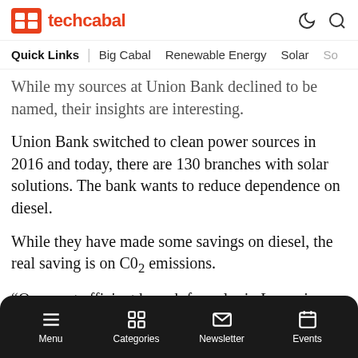techcabal
Quick Links | Big Cabal   Renewable Energy   Solar   So
While my sources at Union Bank declined to be named, their insights are interesting.
Union Bank switched to clean power sources in 2016 and today, there are 130 branches with solar solutions. The bank wants to reduce dependence on diesel.
While they have made some savings on diesel, the real saving is on C02 emissions.
“Our most efficient branch for solar in Lagos is
Menu   Categories   Newsletter   Events